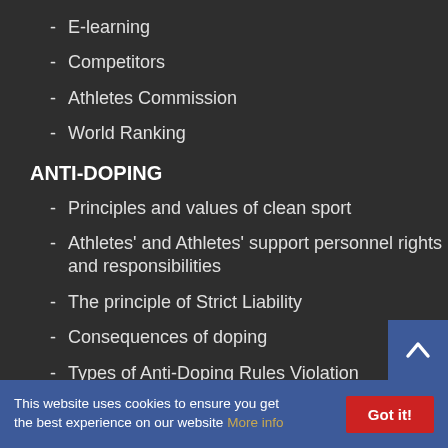E-learning
Competitors
Athletes Commission
World Ranking
ANTI-DOPING
Principles and values of clean sport
Athletes' and Athletes' support personnel rights and responsibilities
The principle of Strict Liability
Consequences of doping
Types of Anti-Doping Rules Violation
Explanation of WADA Prohibited List
Sample collection procedure
This website uses cookies to ensure you get the best experience on our website More info